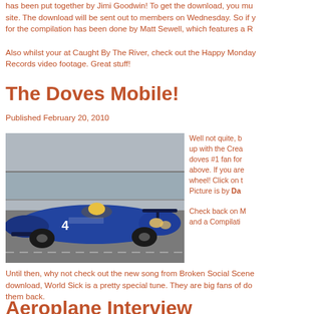has been put together by Jimi Goodwin! To get the download, you mu... site. The download will be sent out to members on Wednesday. So if y... for the compilation has been done by Matt Sewell, which features a R...
Also whilst your at Caught By The River, check out the Happy Monday... Records video footage. Great stuff!
The Doves Mobile!
Published February 20, 2010
[Figure (photo): A blue racing car with number 4 on a race track]
Well not quite, b... up with the Crea... doves #1 fan for... above. If you are... wheel! Click on t... Picture is by Da...
Check back on M... and a Compilati...
Until then, why not check out the new song from Broken Social Scene... download, World Sick is a pretty special tune. They are big fans of do... them back.
Aeroplane Interview